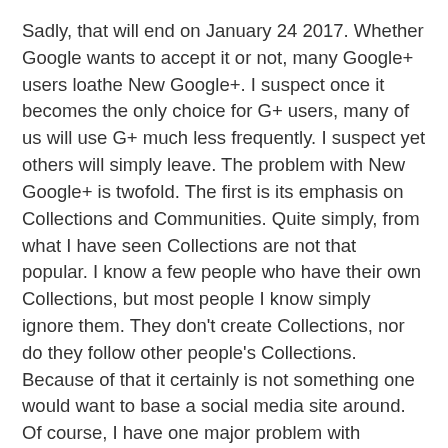Sadly, that will end on January 24 2017. Whether Google wants to accept it or not, many Google+ users loathe New Google+. I suspect once it becomes the only choice for G+ users, many of us will use G+ much less frequently. I suspect yet others will simply leave. The problem with New Google+ is twofold. The first is its emphasis on Collections and Communities. Quite simply, from what I have seen Collections are not that popular. I know a few people who have their own Collections, but most people I know simply ignore them. They don't create Collections, nor do they follow other people's Collections. Because of that it certainly is not something one would want to base a social media site around.  Of course, I have one major problem with Collections myself. Quite simply, someone who is not following me can follow one of my Collections. I really do not like that and it is why I don't have any Collections. I want my posts in the Collections to be public, but as far as I am concerned only those people who follow me should be able to see those Collections.
As to Communities, as I said earlier, initially they were quite popular. Unfortunately, over time some and then really many off